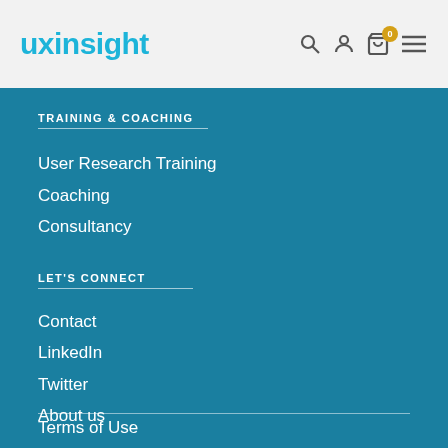uxinsight
TRAINING & COACHING
User Research Training
Coaching
Consultancy
LET'S CONNECT
Contact
LinkedIn
Twitter
About us
Terms of Use